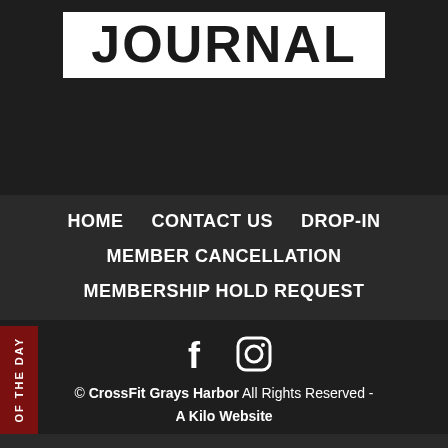[Figure (logo): CrossFit Journal logo — white box with bold black text reading JOURNAL]
HOME
CONTACT US
DROP-IN
MEMBER CANCELLATION
MEMBERSHIP HOLD REQUEST
[Figure (illustration): Facebook and Instagram social icons]
© CrossFit Grays Harbor All Rights Reserved - A Kilo Website